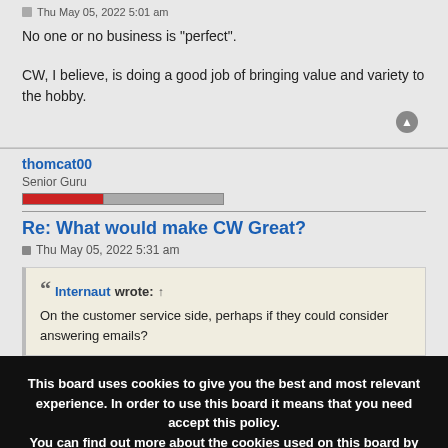Thu May 05, 2022 5:01 am
No one or no business is "perfect".
CW, I believe, is doing a good job of bringing value and variety to the hobby.
thomcat00
Senior Guru
Re: What would make CW Great?
Thu May 05, 2022 5:31 am
Internaut wrote: ↑
On the customer service side, perhaps if they could consider answering emails?
This board uses cookies to give you the best and most relevant experience. In order to use this board it means that you need accept this policy.
You can find out more about the cookies used on this board by clicking the "Policies" link at the bottom of the page.
✓ Accept Cookies